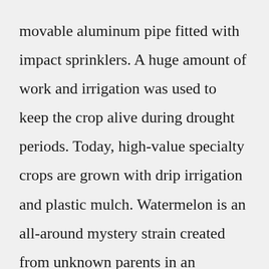movable aluminum pipe fitted with impact sprinklers. A huge amount of work and irrigation was used to keep the crop alive during drought periods. Today, high-value specialty crops are grown with drip irrigation and plastic mulch. Watermelon is an all-around mystery strain created from unknown parents in an anonymous breeder's garden. It reportedly tastes and smells like sweet tropical fruit with an earthy